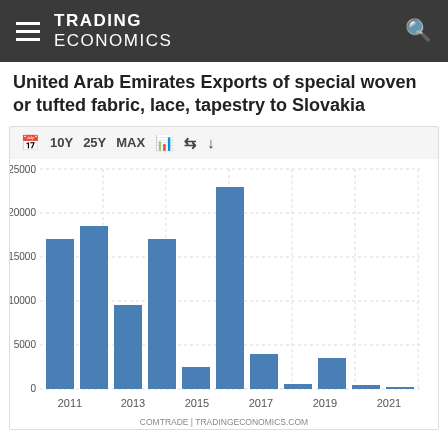TRADING ECONOMICS
United Arab Emirates Exports of special woven or tufted fabric, lace, tapestry to Slovakia
[Figure (bar-chart): United Arab Emirates Exports of special woven or tufted fabric, lace, tapestry to Slovakia]
COMTRADE | TRADINGECONOMICS.COM